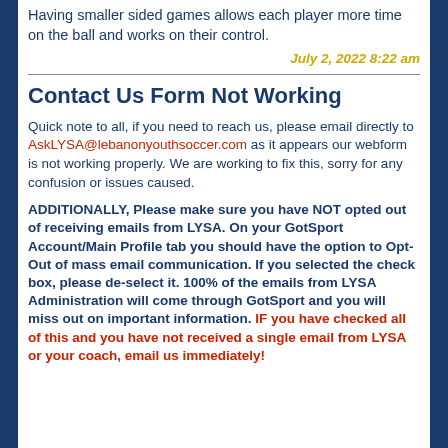Having smaller sided games allows each player more time on the ball and works on their control.
July 2, 2022 8:22 am
Contact Us Form Not Working
Quick note to all, if you need to reach us, please email directly to AskLYSA@lebanonyouthsoccer.com as it appears our webform is not working properly. We are working to fix this, sorry for any confusion or issues caused.
ADDITIONALLY, Please make sure you have NOT opted out of receiving emails from LYSA. On your GotSport Account/Main Profile tab you should have the option to Opt-Out of mass email communication. If you selected the check box, please de-select it. 100% of the emails from LYSA Administration will come through GotSport and you will miss out on important information. IF you have checked all of this and you have not received a single email from LYSA or your coach, email us immediately!